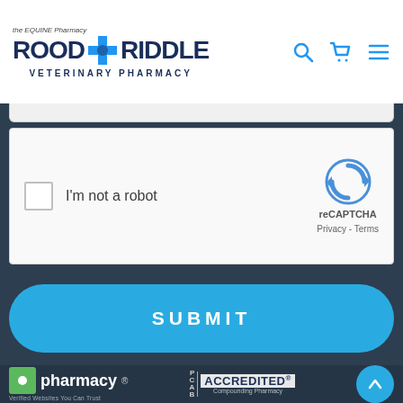[Figure (logo): Rood & Riddle Equine Pharmacy logo with blue text and cross icon, tagline 'the EQUINE Pharmacy', subtitle 'VETERINARY PHARMACY']
[Figure (screenshot): reCAPTCHA widget with checkbox labeled 'I'm not a robot' and reCAPTCHA branding with Privacy and Terms links]
[Figure (screenshot): Blue rounded SUBMIT button]
[Figure (logo): Footer with .pharmacy verified badge, PCCA logo, PCAB Accredited Compounding Pharmacy badge, and scroll-up button]